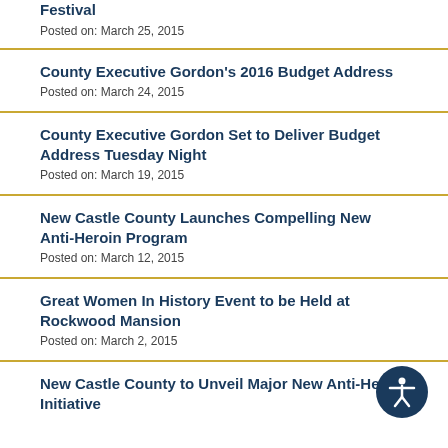Festival
Posted on: March 25, 2015
County Executive Gordon's 2016 Budget Address
Posted on: March 24, 2015
County Executive Gordon Set to Deliver Budget Address Tuesday Night
Posted on: March 19, 2015
New Castle County Launches Compelling New Anti-Heroin Program
Posted on: March 12, 2015
Great Women In History Event to be Held at Rockwood Mansion
Posted on: March 2, 2015
New Castle County to Unveil Major New Anti-Heroin Initiative